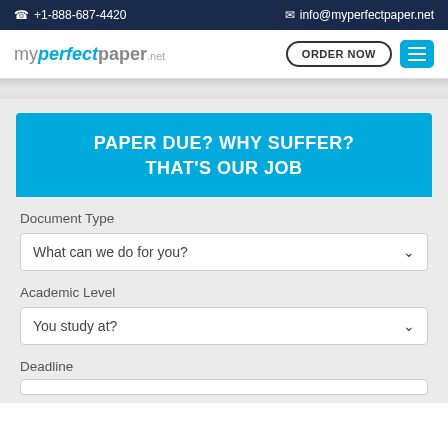☎ +1-888-687-4420    ✉ info@myperfectpaper.net
[Figure (logo): myperfectpaper.net logo with cyan accent on 'perfect']
PAPER DUE? WHY SUFFER? THAT'S OUR JOB
Document Type
What can we do for you?
Academic Level
You study at?
Deadline